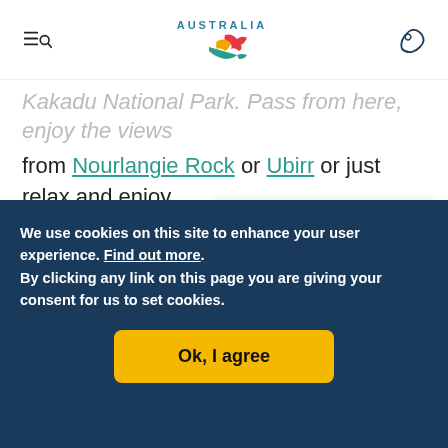Australia tourism website header with menu, search, Australia logo, and map icon
Kakadu National Park. Pass from here, enjoy the views from Nourlangie Rock or Ubirr or just relax and enjoy dinner at Anbinik's fabu...
See the rooms at Anbinik...
Chat Mate

🟨 It's time to go big Australia. Connect with an Aussie Specialist now to plan your biggest
We use cookies on this site to enhance your user experience. Find out more.
By clicking any link on this page you are giving your consent for us to set cookies.

Ok, I agree